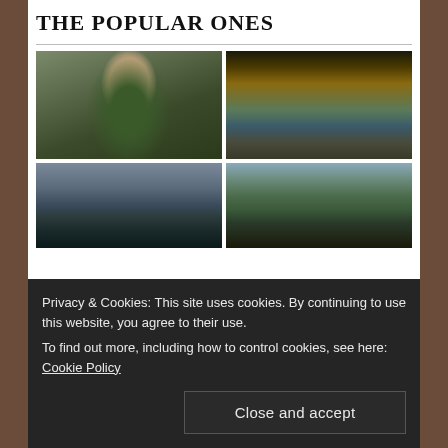THE POPULAR ONES
[Figure (photo): Man in military uniform and beret speaking at microphones outdoors]
[Figure (photo): Abandoned indoor swimming pool with yellow-tinted lighting and rusted structure]
[Figure (photo): Dark mountainous landscape with overcast sky]
[Figure (photo): Forest scene with dark vehicle partially visible among trees]
Privacy & Cookies: This site uses cookies. By continuing to use this website, you agree to their use.
To find out more, including how to control cookies, see here: Cookie Policy
Close and accept